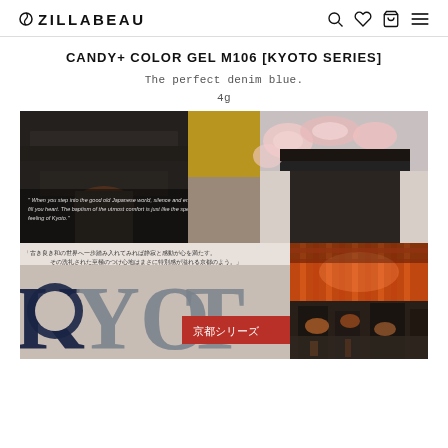ZILLABEAU
CANDY+ COLOR GEL M106 [KYOTO SERIES]
The perfect denim blue.
4g
[Figure (photo): Collage of Kyoto imagery: dark rainy alleyway with lanterns, gold and grey color swatches, cherry blossom temple, geisha in street, torii gates lit in orange, lantern-lit evening street. Text overlay: 'When you step into the good old Japanese world, silence and emotion fill you heart. The baptism of the utmost comfort is just like the special feeling of Kyoto.' and Japanese text 「古き良き和の世界へ一歩踏み入れてみれば静寂と感動が心を満たす。その洗礼された至極のつけ心地はまさに特別感が溢れる京都のよう。」 and large text 'KYOTO' with 京都シリーズ label.]